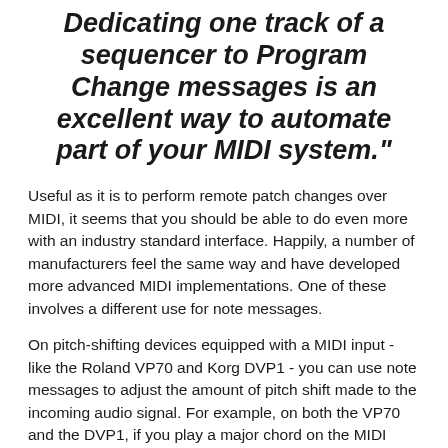Dedicating one track of a sequencer to Program Change messages is an excellent way to automate part of your MIDI system."
Useful as it is to perform remote patch changes over MIDI, it seems that you should be able to do even more with an industry standard interface. Happily, a number of manufacturers feel the same way and have developed more advanced MIDI implementations. One of these involves a different use for note messages.
On pitch-shifting devices equipped with a MIDI input - like the Roland VP70 and Korg DVP1 - you can use note messages to adjust the amount of pitch shift made to the incoming audio signal. For example, on both the VP70 and the DVP1, if you play a major chord on the MIDI controller, the monophonic input signal will be harmonised to a major chord. But if you suddenly switch to